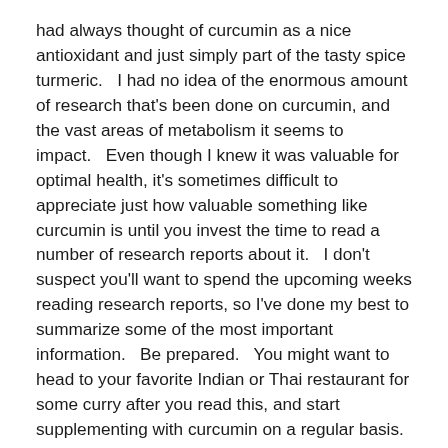had always thought of curcumin as a nice antioxidant and just simply part of the tasty spice turmeric.   I had no idea of the enormous amount of research that's been done on curcumin, and the vast areas of metabolism it seems to impact.   Even though I knew it was valuable for optimal health, it's sometimes difficult to appreciate just how valuable something like curcumin is until you invest the time to read a number of research reports about it.   I don't suspect you'll want to spend the upcoming weeks reading research reports, so I've done my best to summarize some of the most important information.   Be prepared.   You might want to head to your favorite Indian or Thai restaurant for some curry after you read this, and start supplementing with curcumin on a regular basis.
History of Curcumin
Chances are good that you've heard of curcumin. If